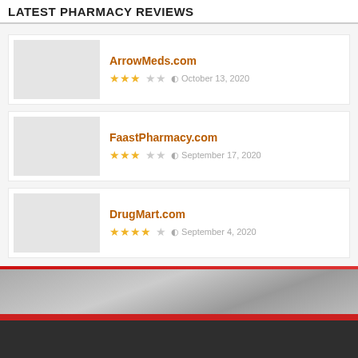LATEST PHARMACY REVIEWS
ArrowMeds.com — ★★★☆☆ — October 13, 2020
FaastPharmacy.com — ★★★☆☆ — September 17, 2020
DrugMart.com — ★★★★☆ — September 4, 2020
Disclaimer | Privacy Policy
© Copyright 2022 rpspharmacy.com All Rights Reserved